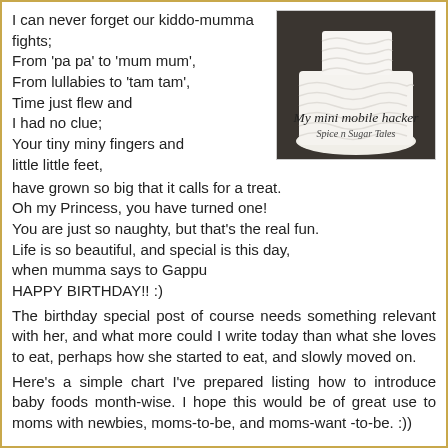I can never forget our kiddo-mumma fights;
From 'pa pa' to 'mum mum',
From lullabies to 'tam tam',
Time just flew and
I had no clue;
Your tiny miny fingers and little little feet,
have grown so big that it calls for a treat.
Oh my Princess, you have turned one!
You are just so naughty, but that's the real fun.
Life is so beautiful, and special is this day,
when mumma says to Gappu
HAPPY BIRTHDAY!! :)
The birthday special post of course needs something relevant with her, and what more could I write today than what she loves to eat, perhaps how she started to eat, and slowly moved on.
Here's a simple chart I've prepared listing how to introduce baby foods month-wise. I hope this would be of great use to moms with newbies, moms-to-be, and moms-want -to-be. :))
[Figure (photo): A photo of a white ruffle birthday cake with text overlay reading 'My mini mobile hacker' and 'Spice n Sugar Tales' in italic script]